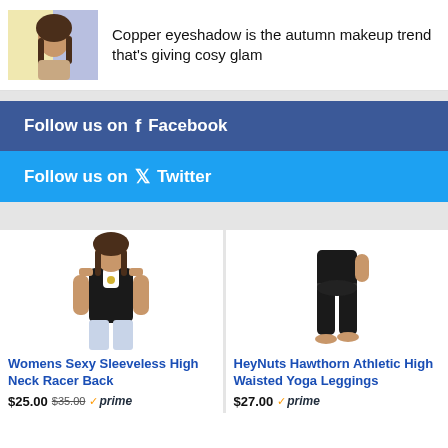[Figure (photo): Thumbnail of a woman with makeup, autumn beauty article]
Copper eyeshadow is the autumn makeup trend that's giving cosy glam
Follow us on Facebook
Follow us on Twitter
[Figure (photo): Womens black sleeveless high neck racer back top product image]
Womens Sexy Sleeveless High Neck Racer Back
$25.00 $35.00 prime
[Figure (photo): Black high waisted yoga leggings product image]
HeyNuts Hawthorn Athletic High Waisted Yoga Leggings
$27.00 prime